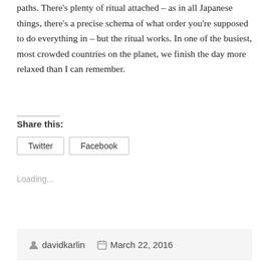paths. There's plenty of ritual attached – as in all Japanese things, there's a precise schema of what order you're supposed to do everything in – but the ritual works. In one of the busiest, most crowded countries on the planet, we finish the day more relaxed than I can remember.
Share this:
Twitter
Facebook
Loading...
davidkarlin   March 22, 2016